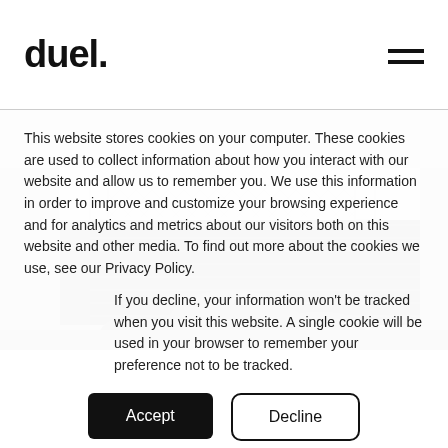duel.
[Figure (photo): Black and white photograph of a building exterior with a white lattice fence/railing and shrubs/plants in the foreground]
This website stores cookies on your computer. These cookies are used to collect information about how you interact with our website and allow us to remember you. We use this information in order to improve and customize your browsing experience and for analytics and metrics about our visitors both on this website and other media. To find out more about the cookies we use, see our Privacy Policy.
If you decline, your information won't be tracked when you visit this website. A single cookie will be used in your browser to remember your preference not to be tracked.
Accept
Decline